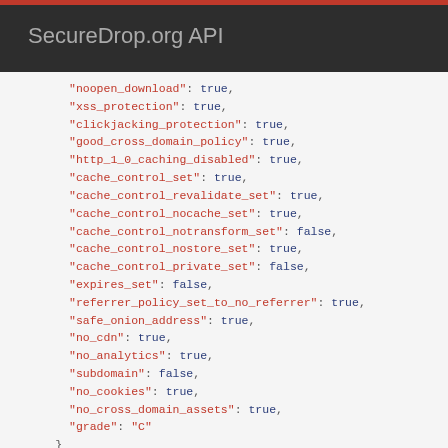SecureDrop.org API
"noopen_download": true,
"xss_protection": true,
"clickjacking_protection": true,
"good_cross_domain_policy": true,
"http_1_0_caching_disabled": true,
"cache_control_set": true,
"cache_control_revalidate_set": true,
"cache_control_nocache_set": true,
"cache_control_notransform_set": false,
"cache_control_nostore_set": true,
"cache_control_private_set": false,
"expires_set": false,
"referrer_policy_set_to_no_referrer": true,
"safe_onion_address": true,
"no_cdn": true,
"no_analytics": true,
"subdomain": false,
"no_cookies": true,
"no_cross_domain_assets": true,
"grade": "C"
    }
  },
  {